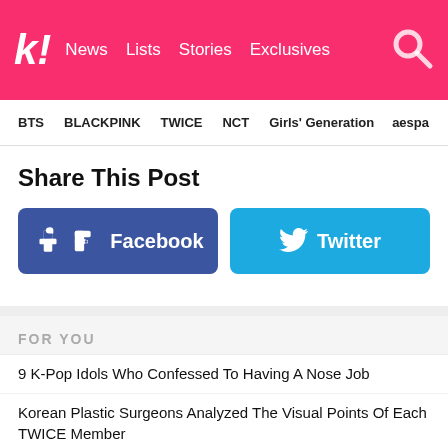k! News Lists Stories Exclusives
BTS BLACKPINK TWICE NCT Girls' Generation aespa
Share This Post
[Figure (infographic): Facebook and Twitter share buttons]
FOR YOU
9 K-Pop Idols Who Confessed To Having A Nose Job
Korean Plastic Surgeons Analyzed The Visual Points Of Each TWICE Member
K-Pop Trainee Beomhan Responds To Plastic Surgery